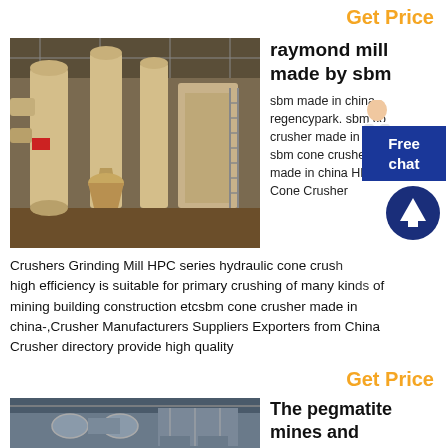Get Price
[Figure (photo): Industrial raymond mill machinery in a factory setting, beige/yellow equipment with large cylindrical towers and conveyor components]
raymond mill made by sbm
sbm made in china regencypark. sbm cone crusher made in china sbm cone crusher made in china HPC Cone Crusher Crushers Grinding Mill HPC series hydraulic cone crusher high efficiency is suitable for primary crushing of many kinds of mining building construction etcsbm cone crusher made in china-,Crusher Manufacturers Suppliers Exporters from China Crusher directory provide high quality
Get Price
[Figure (photo): Industrial mining facility interior with large pipes and structural elements]
The pegmatite mines and